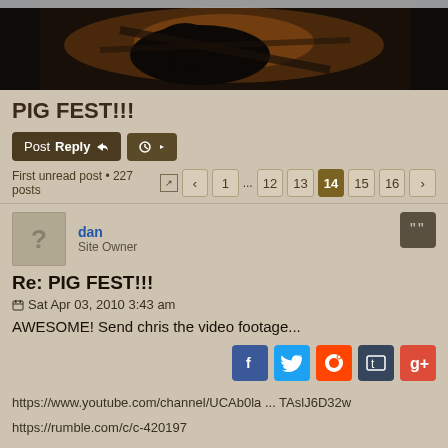[Figure (photo): Dark wildlife/nature photo showing what appears to be a dark boar or pig with some orange/brown tones in background]
PIG FEST!!!
Post Reply [buttons] [tool button]
First unread post • 227 posts  < 1 ... 12 13 14 15 16 >
dan
Site Owner
Re: PIG FEST!!!
Sat Apr 03, 2010 3:43 am
AWESOME! Send chris the video footage...
https://www.youtube.com/channel/UCAb0la ... TAslJ6D32w
https://rumble.com/c/c-420197
https://www.facebook.com/HuntingBeast/